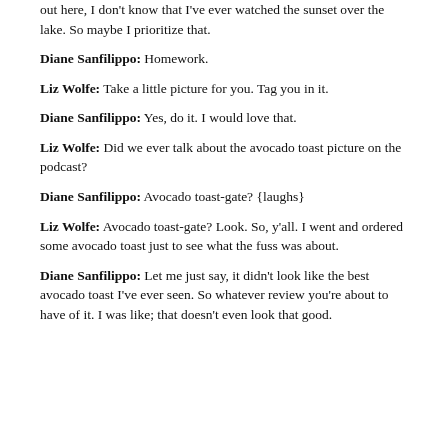out here, I don't know that I've ever watched the sunset over the lake. So maybe I prioritize that.
Diane Sanfilippo: Homework.
Liz Wolfe: Take a little picture for you. Tag you in it.
Diane Sanfilippo: Yes, do it. I would love that.
Liz Wolfe: Did we ever talk about the avocado toast picture on the podcast?
Diane Sanfilippo: Avocado toast-gate? {laughs}
Liz Wolfe: Avocado toast-gate? Look. So, y'all. I went and ordered some avocado toast just to see what the fuss was about.
Diane Sanfilippo: Let me just say, it didn't look like the best avocado toast I've ever seen. So whatever review you're about to have of it. I was like; that doesn't even look that good.